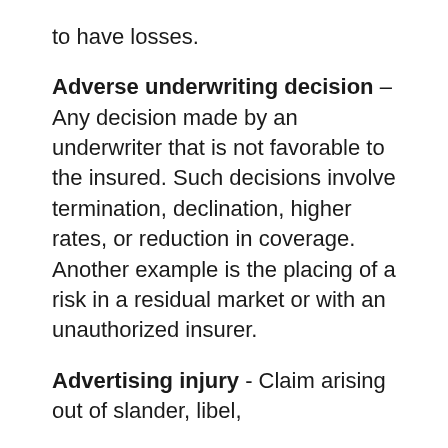to have losses.
Adverse underwriting decision – Any decision made by an underwriter that is not favorable to the insured. Such decisions involve termination, declination, higher rates, or reduction in coverage. Another example is the placing of a risk in a residual market or with an unauthorized insurer.
Advertising injury - Claim arising out of slander, libel,